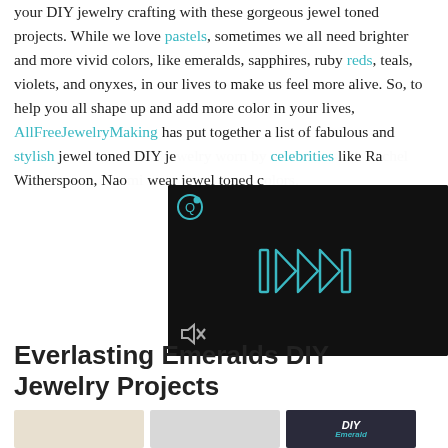your DIY jewelry crafting with these gorgeous jewel toned projects. While we love pastels, sometimes we all need brighter and more vivid colors, like emeralds, sapphires, ruby reds, teals, violets, and onyxes, in our lives to make us feel more alive. So, to help you all shape up and add more color in your lives, AllFreeJewelryMaking has put together a list of fabulous and stylish jewel toned DIY je… celebrities like Rac… Witherspoon, Nao… wear jewel toned c…
[Figure (screenshot): Embedded video player overlay with dark background, blue fast-forward/play arrows icon in center, mute icon at bottom left, and a '@' Qello icon at top left. Background shows a dim scene.]
Everlasting Emeralds DIY Jewelry Projects
[Figure (photo): Three small thumbnail images at the bottom: a warm-toned jewelry photo, a gray-toned jewelry photo, and a dark card with 'DIY Emerald' text in teal.]